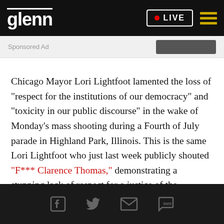glenn | LIVE
Sponsored Ad
Chicago Mayor Lori Lightfoot lamented the loss of "respect for the institutions of our democracy" and "toxicity in our public discourse" in the wake of Monday's mass shooting during a Fourth of July parade in Highland Park, Illinois. This is the same Lori Lightfoot who just last week publicly shouted "F*** Clarence Thomas," demonstrating a stunning lack of respect for a justice of the Supreme Court of the United States.
Social share icons: Facebook, Twitter, Email, SMS